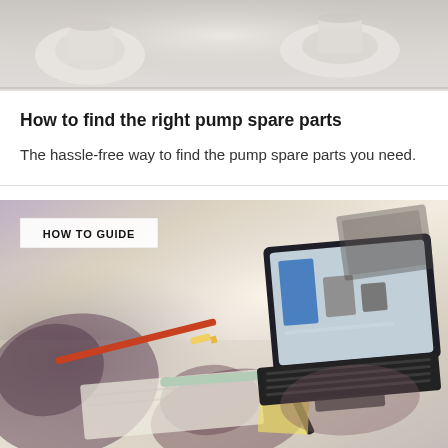[Figure (photo): Top portion of a desk scene photo showing cups and desk items, cropped at top of page]
How to find the right pump spare parts
The hassle-free way to find the pump spare parts you need.
[Figure (photo): People working at a desk with a laptop, pencils, and notebooks. Badge overlay reads 'HOW TO GUIDE']